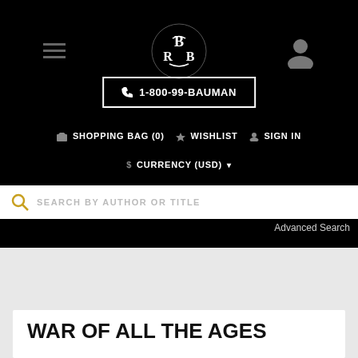[Figure (logo): BRB monogram logo in white ornate lettering on black background]
☎ 1-800-99-BAUMAN
🛒 SHOPPING BAG (0)  ★ WISHLIST  👤 SIGN IN
$ CURRENCY (USD) ▾
SEARCH BY AUTHOR OR TITLE
Advanced Search
WAR OF ALL THE AGES